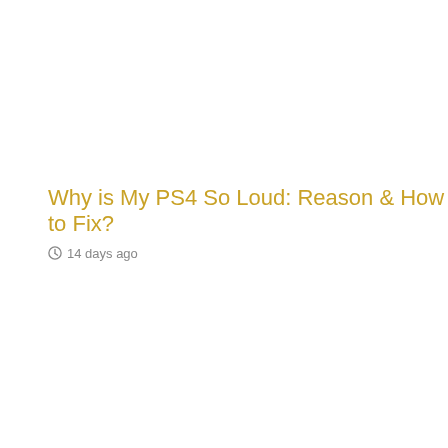Why is My PS4 So Loud: Reason & How to Fix?
14 days ago